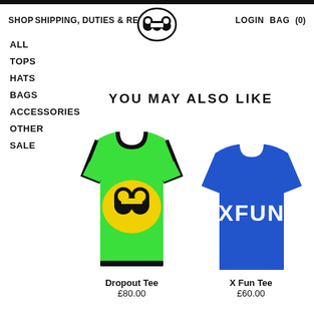SHOP  SHIPPING, DUTIES & RETURNS  ∨  LOGIN  BAG  (0)
ALL
TOPS
HATS
BAGS
ACCESSORIES
OTHER
SALE
YOU MAY ALSO LIKE
[Figure (photo): Green ringer t-shirt with yellow oval logo featuring black M-shape symbol (Dropout Tee)]
[Figure (photo): Blue t-shirt with white XFUN text (X Fun Tee)]
Dropout Tee
£80.00
X Fun Tee
£60.00